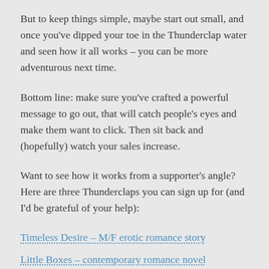But to keep things simple, maybe start out small, and once you've dipped your toe in the Thunderclap water and seen how it all works – you can be more adventurous next time.
Bottom line: make sure you've crafted a powerful message to go out, that will catch people's eyes and make them want to click. Then sit back and (hopefully) watch your sales increase.
Want to see how it works from a supporter's angle? Here are three Thunderclaps you can sign up for (and I'd be grateful of your help):
Timeless Desire – M/F erotic romance story
Little Boxes – contemporary romance novel